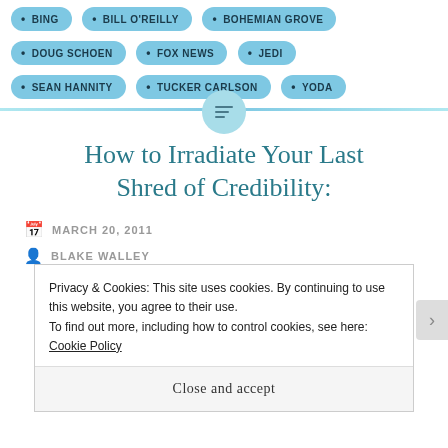BING
BILL O'REILLY
BOHEMIAN GROVE
DOUG SCHOEN
FOX NEWS
JEDI
SEAN HANNITY
TUCKER CARLSON
YODA
How to Irradiate Your Last Shred of Credibility:
MARCH 20, 2011
BLAKE WALLEY
Privacy & Cookies: This site uses cookies. By continuing to use this website, you agree to their use.
To find out more, including how to control cookies, see here: Cookie Policy
Close and accept